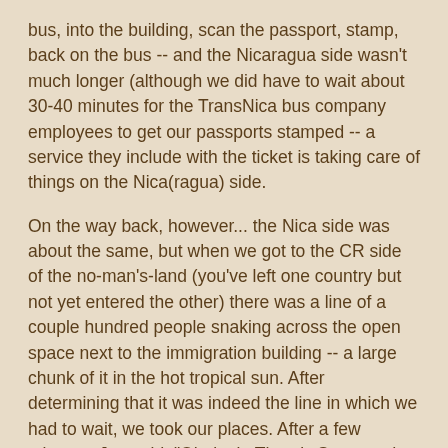bus, into the building, scan the passport, stamp, back on the bus -- and the Nicaragua side wasn't much longer (although we did have to wait about 30-40 minutes for the TransNica bus company employees to get our passports stamped -- a service they include with the ticket is taking care of things on the Nica(ragua) side.
On the way back, however... the Nica side was about the same, but when we got to the CR side of the no-man's-land (you've left one country but not yet entered the other) there was a line of a couple hundred people snaking across the open space next to the immigration building -- a large chunk of it in the hot tropical sun. After determining that it was indeed the line in which we had to wait, we took our places. After a few minutes, Jen said, "Oh, look. There's Steve and Margaret!" Steve and Margaret had left Grenada on an earlier bus (one hour earlier) and were still in line. So at that point we knew we were going to be there for a while.
About three hours (I'm a bit unclear on the actual times, as my brain was partially fried by the tropical sun) later, we finally got through the extensive customs search (I'm being